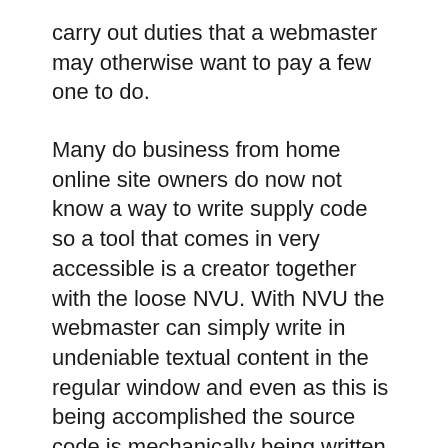carry out duties that a webmaster may otherwise want to pay a few one to do.
Many do business from home online site owners do now not know a way to write supply code so a tool that comes in very accessible is a creator together with the loose NVU. With NVU the webmaster can simply write in undeniable textual content in the regular window and even as this is being accomplished the source code is mechanically being written in another window called supply.
This can be used to jot down web page content for an internet page, e mail marketing campaign, articles or even ads that require supply code to make links